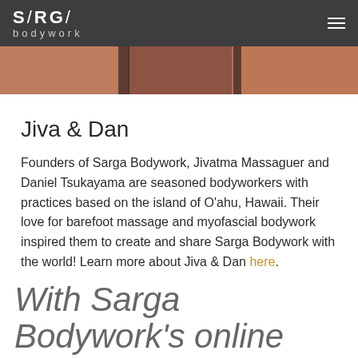SARGA bodywork
[Figure (photo): Photo strip showing barefoot massage bodywork practitioners, warm copper/terracotta tones]
Jiva & Dan
Founders of Sarga Bodywork, Jivatma Massaguer and Daniel Tsukayama are seasoned bodyworkers with practices based on the island of O'ahu, Hawaii. Their love for barefoot massage and myofascial bodywork inspired them to create and share Sarga Bodywork with the world! Learn more about Jiva & Dan here.
With Sarga Bodywork's online